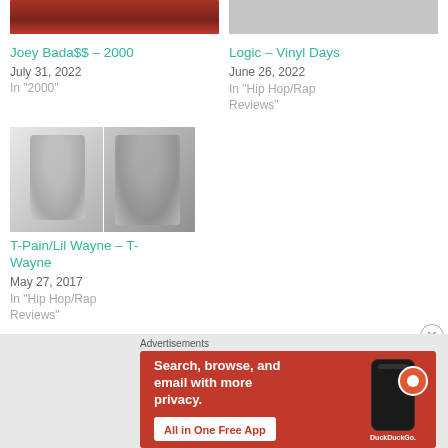[Figure (photo): Partial top image of Joey Bada$$ in red jacket]
Joey Bada$$ – 2000
July 31, 2022
In "2000"
[Figure (photo): Partial top image of Logic crossing arms in dark shirt]
Logic – Vinyl Days
June 26, 2022
In "Hip Hop/Rap Reviews"
[Figure (photo): T-Pain/Lil Wayne composite photo in black and white]
T-Pain/Lil Wayne – T-Wayne
May 27, 2017
In "Hip Hop/Rap Reviews"
[Figure (illustration): DuckDuckGo advertisement banner: Search, browse, and email with more privacy. All in One Free App.]